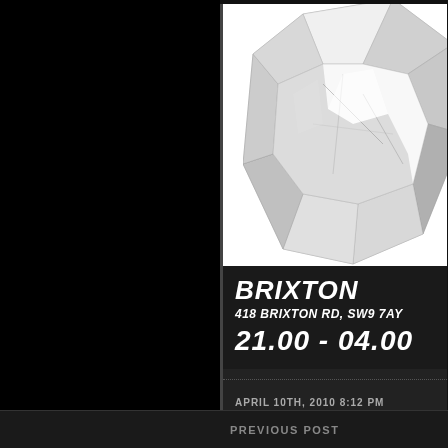[Figure (photo): Black and white photograph of a large faceted gemstone/crystal, partially cropped, showing its angular facets and internal reflections]
BRIXTON
418 BRIXTON RD, SW9 7AY
21.00 - 04.00
APRIL 10TH, 2010 8:12 PM
PREVIOUS POST